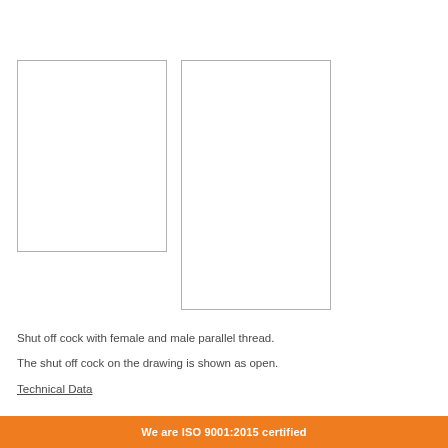[Figure (photo): Two rectangular image placeholders showing engineering drawings of a shut off cock valve component]
Shut off cock with female and male parallel thread.
The shut off cock on the drawing is shown as open.
Technical Data
We are ISO 9001:2015 certified